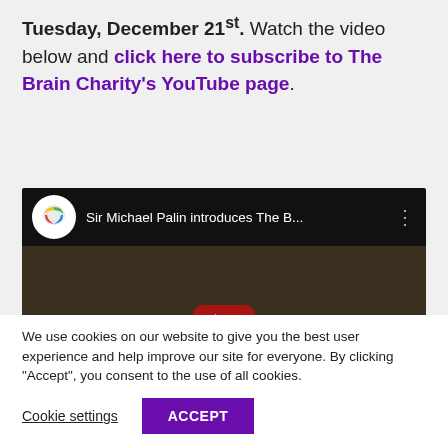Tuesday, December 21st. Watch the video below and click here to subscribe to The Brain Charity's YouTube page.
[Figure (screenshot): YouTube video embed showing Sir Michael Palin introduces The B... with play button overlay and YouTube logo]
We use cookies on our website to give you the best user experience and help improve our site for everyone. By clicking "Accept", you consent to the use of all cookies.
Cookie settings | ACCEPT